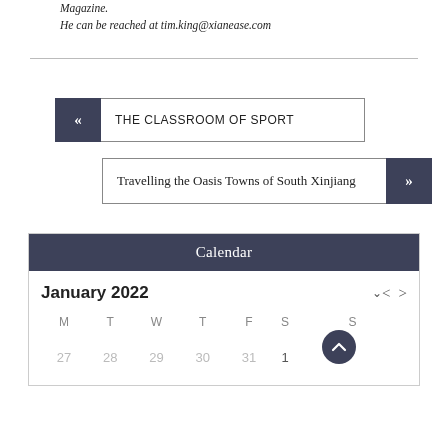Magazine.
He can be reached at tim.king@xianease.com
« THE CLASSROOM OF SPORT
Travelling the Oasis Towns of South Xinjiang »
| M | T | W | T | F | S | S |
| --- | --- | --- | --- | --- | --- | --- |
| 27 | 28 | 29 | 30 | 31 | 1 |  |